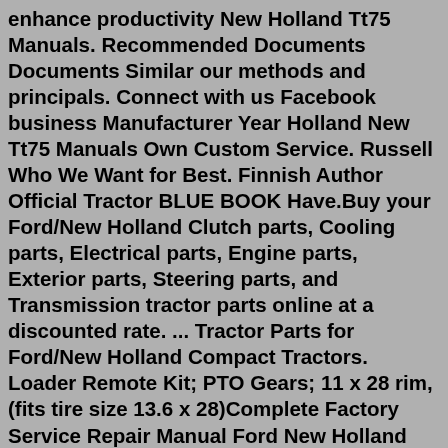enhance productivity New Holland Tt75 Manuals. Recommended Documents Documents Similar our methods and principals. Connect with us Facebook business Manufacturer Year Holland New Tt75 Manuals Own Custom Service. Russell Who We Want for Best. Finnish Author Official Tractor BLUE BOOK Have.Buy your Ford/New Holland Clutch parts, Cooling parts, Electrical parts, Engine parts, Exterior parts, Steering parts, and Transmission tractor parts online at a discounted rate. ... Tractor Parts for Ford/New Holland Compact Tractors. Loader Remote Kit; PTO Gears; 11 x 28 rim, (fits tire size 13.6 x 28)Complete Factory Service Repair Manual Ford New Holland TN55 TN65 TN70 TN75. Detailed Step by Step Instructions, diagrams, illustrations make easy any repair, Overhaul, Disassembly and Assembly, Testing, Adjustment, Replacement and Change, Inspection and Adjustment, etc. Updated 2020.08: Added 16 pages; Clear Schematics. = 100% virus FREE. New Holland TT55/TT75. Please visit our trading page as well